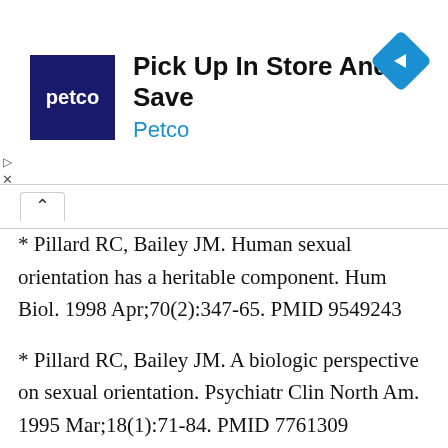[Figure (other): Petco advertisement banner: Petco logo (dark blue square with 'petco' in white), heading 'Pick Up In Store And Save', subheading 'Petco' in blue, and a blue diamond navigation icon on the right.]
* Pillard RC, Bailey JM. Human sexual orientation has a heritable component. Hum Biol. 1998 Apr;70(2):347-65. PMID 9549243
* Pillard RC, Bailey JM. A biologic perspective on sexual orientation. Psychiatr Clin North Am. 1995 Mar;18(1):71-84. PMID 7761309